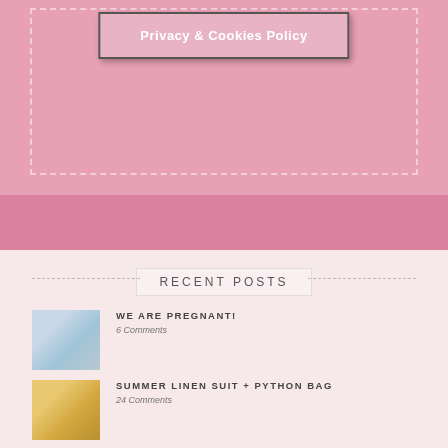[Figure (screenshot): Pink background with dashed border box containing Privacy & Cookies Policy button]
RECENT POSTS
[Figure (photo): Hands holding a blue framed ultrasound photo]
WE ARE PREGNANT!
6 Comments
[Figure (photo): Person in yellow outfit with camera on tripod]
SUMMER LINEN SUIT + PYTHON BAG
24 Comments
[Figure (photo): Outdoor summer wedding scene]
WHAT TO WEAR FOR A SUMMER WEDDING